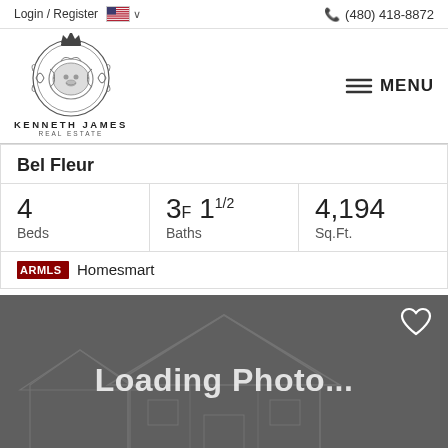Login / Register  🇺🇸 ∨   📞 (480) 418-8872
[Figure (logo): Kenneth James Real Estate logo — ornate lion crest with crown, circular medallion design]
☰ MENU
Bel Fleur
4 Beds | 3F 1½ Baths | 4,194 Sq.Ft.
ARMLS  Homesmart
[Figure (photo): Loading Photo... placeholder image with dark gray background and faint house silhouette watermark. Heart/favorite icon in top right.]